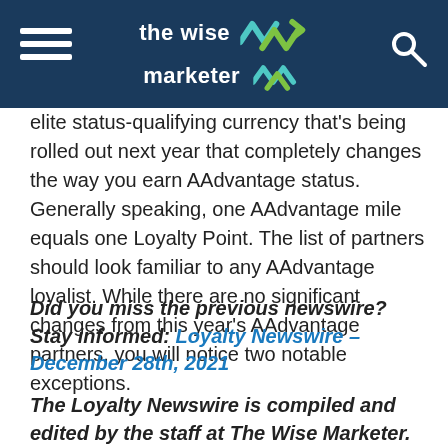the wise marketer
elite status-qualifying currency that's being rolled out next year that completely changes the way you earn AAdvantage status. Generally speaking, one AAdvantage mile equals one Loyalty Point. The list of partners should look familiar to any AAdvantage loyalist. While there are no significant changes from this year's AAdvantage partners, you will notice two notable exceptions.
Did you miss the previous newswire? Stay informed: Loyalty Newswire – December 28th, 2021
The Loyalty Newswire is compiled and edited by the staff at The Wise Marketer.